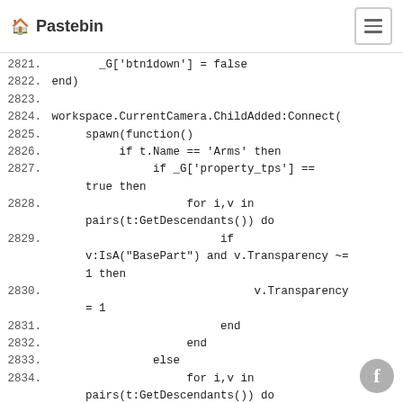🏠 Pastebin
2821.        _G['btn1down'] = false
2822. end)
2823.
2824. workspace.CurrentCamera.ChildAdded:Connect(
2825.      spawn(function()
2826.           if t.Name == 'Arms' then
2827.                if _G['property_tps'] == true then
2828.                     for i,v in pairs(t:GetDescendants()) do
2829.                          if v:IsA("BasePart") and v.Transparency ~= 1 then
2830.                               v.Transparency = 1
2831.                          end
2832.                     end
2833.                else
2834.                     for i,v in pairs(t:GetDescendants()) do
2835.                          if v:IsA("BasePart") and v.Transparency ~= 1 then
2836.                               v.Transparency